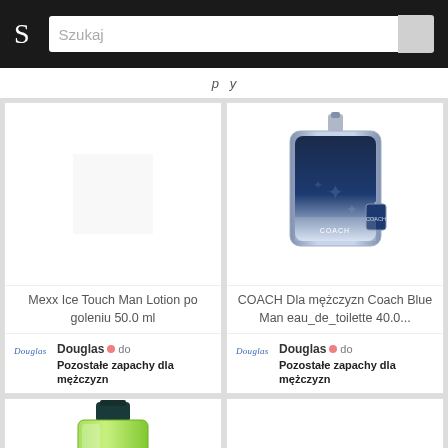S  Szukaj
p y
[Figure (photo): Mexx Ice Touch Man Lotion po goleniu 50.0 ml product image (blank/empty area)]
Mexx Ice Touch Man Lotion po goleniu 50.0 ml
Douglas do Pozostałe zapachy dla mężczyzn
[Figure (photo): COACH Dla mężczyzn Coach Blue Man eau_de_toilette 40.0... perfume bottle - square dark blue bottle with metallic cap and Coach tag]
COACH Dla mężczyzn Coach Blue Man eau_de_toilette 40.0...
Douglas do Pozostałe zapachy dla mężczyzn
[Figure (photo): Puma Live Wild perfume bottle - green transparent rectangular bottle with dark cap and Puma logo text]